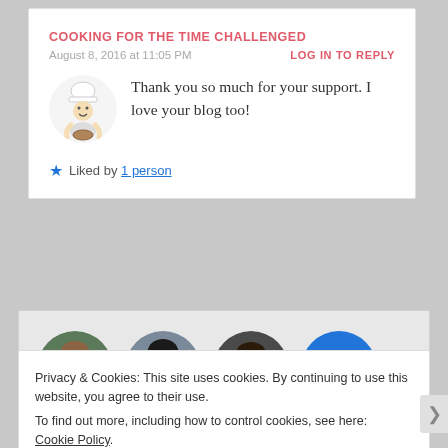COOKING FOR THE TIME CHALLENGED
August 8, 2016 at 11:05 PM
LOG IN TO REPLY
Thank you so much for your support. I love your blog too!
Liked by 1 person
[Figure (photo): Circular avatar image of a cartoon chef character]
[Figure (photo): Three circular profile photos of followers and a blue plus button]
Privacy & Cookies: This site uses cookies. By continuing to use this website, you agree to their use. To find out more, including how to control cookies, see here: Cookie Policy
Close and accept